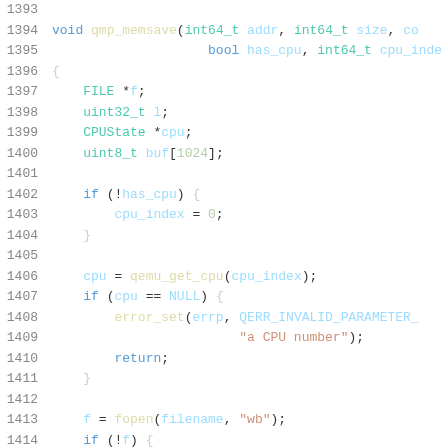[Figure (screenshot): Source code listing in C, lines 1393-1414, showing qmp_memsave function with syntax highlighting. Dark-on-white code editor view with line numbers in grey, keywords in blue, types in teal, function names in yellow, string literals in orange, numeric literals in light green, and variable names in light blue.]